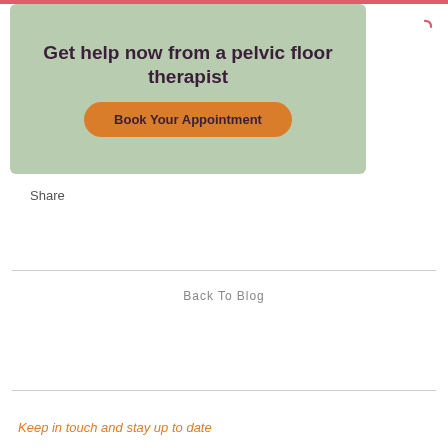[Figure (infographic): Green banner with dark purple bold text: 'Get help now from a pelvic floor therapist' and an orange rounded button 'Book Your Appointment']
Share
Back To Blog
Keep in touch and stay up to date